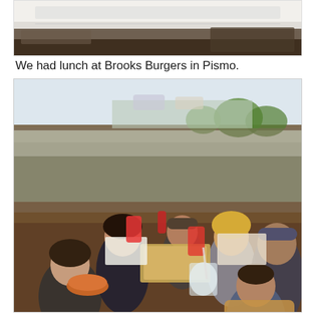[Figure (photo): Partial view of a photo at the top of the page, showing what appears to be a table or surface with a window background, cropped at top of page.]
We had lunch at Brooks Burgers in Pismo.
[Figure (photo): A group of people, including children and adults, sitting around a long table at Brooks Burgers restaurant in Pismo. The table is covered with food including burgers, fries, and drinks. A window with a parking lot view is visible in the background.]